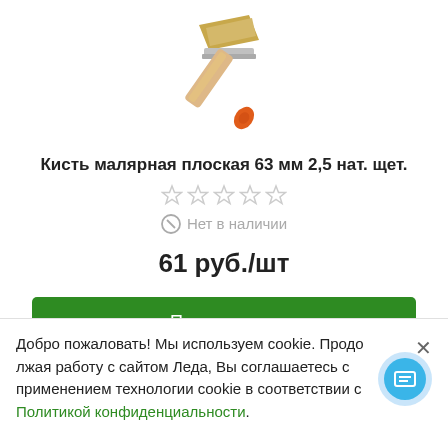[Figure (photo): A flat paint brush with a wooden handle and orange/red grip, shown diagonally on a white background.]
Кисть малярная плоская 63 мм 2,5 нат. щет.
★★★★★ (empty stars rating)
Нет в наличии
61 руб./шт
Подписаться
Добро пожаловать! Мы используем cookie. Продолжая работу с сайтом Леда, Вы соглашаетесь с применением технологии cookie в соответствии с Политикой конфиденциальности.